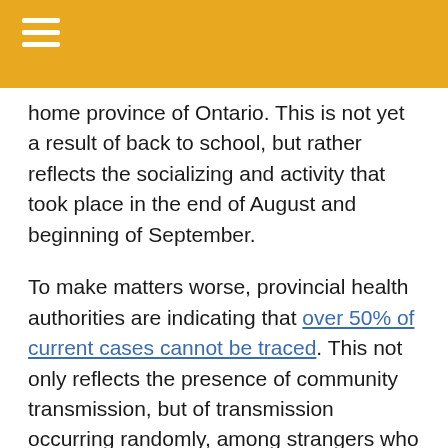home province of Ontario. This is not yet a result of back to school, but rather reflects the socializing and activity that took place in the end of August and beginning of September.
To make matters worse, provincial health authorities are indicating that over 50% of current cases cannot be traced. This not only reflects the presence of community transmission, but of transmission occurring randomly, among strangers who have no identifiable connection.
(As a brief aside, technology would not be able to trace these infections, as many people do not have the necessary technology, i.e. latest model of